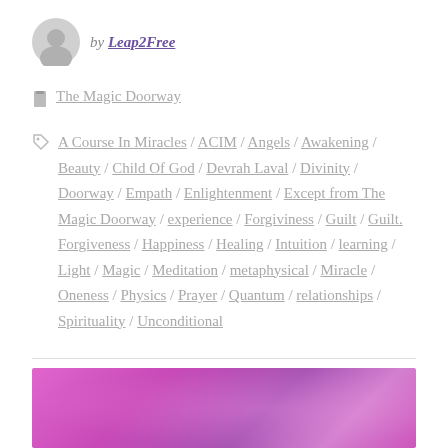by Leap2Free
The Magic Doorway
A Course In Miracles / ACIM / Angels / Awakening / Beauty / Child Of God / Devrah Laval / Divinity / Doorway / Empath / Enlightenment / Except from The Magic Doorway / experience / Forgiviness / Guilt / Guilt. Forgiveness / Happiness / Healing / Intuition / learning / Light / Magic / Meditation / metaphysical / Miracle / Oneness / Physics / Prayer / Quantum / relationships / Spirituality / Unconditional
[Figure (photo): Pink and purple flowers macro photo]